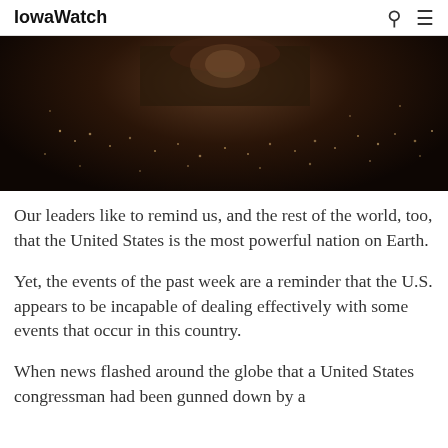IowaWatch
[Figure (photo): Night aerial photograph of a government building (likely the U.S. Capitol) with city lights visible in the dark background]
Our leaders like to remind us, and the rest of the world, too, that the United States is the most powerful nation on Earth.
Yet, the events of the past week are a reminder that the U.S. appears to be incapable of dealing effectively with some events that occur in this country.
When news flashed around the globe that a United States congressman had been gunned down by a